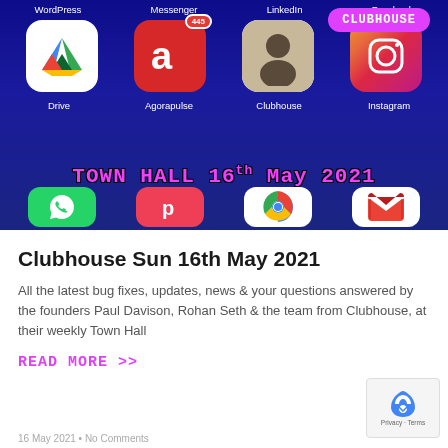[Figure (screenshot): A smartphone screen showing a grid of social media app icons including WordPress, Messenger, LinkedIn, Facebook, Drive, Agorapulse, Clubhouse, and Instagram. Text overlay reads 'TOWN HALL 16th May 2021' in pink graffiti-style font. Clubhouse pill badge visible top right.]
Clubhouse Sun 16th May 2021
All the latest bug fixes, updates, news & your questions answered by the founders Paul Davison, Rohan Seth & the team from Clubhouse, at their weekly Town Hall
READ MORE >>
16 May 2021 • No Comments